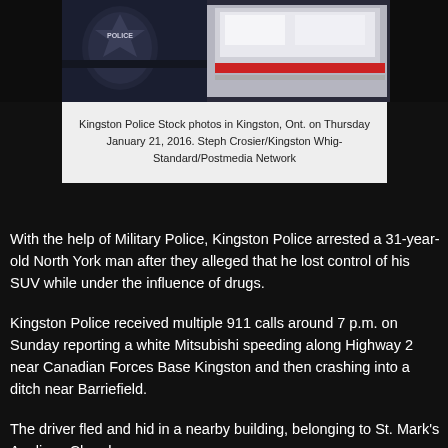[Figure (photo): Kingston Police stock photo showing a police uniform/badge and a white police vehicle in the background]
Kingston Police Stock photos in Kingston, Ont. on Thursday January 21, 2016. Steph Crosier/Kingston Whig-Standard/Postmedia Network
With the help of Military Police, Kingston Police arrested a 31-year-old North York man after they alleged that he lost control of his SUV while under the influence of drugs.
Kingston Police received multiple 911 calls around 7 p.m. on Sunday reporting a white Mitsubishi speeding along Highway 2 near Canadian Forces Base Kingston and then crashing into a ditch near Barriefield.
The driver fled and hid in a nearby building, belonging to St. Mark's Anglican Church.